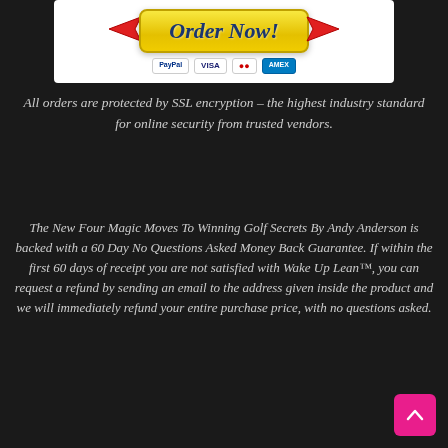[Figure (illustration): Yellow 'Order Now!' button with red arrows on each side and payment icons (PayPal, VISA, MasterCard, American Express) below it on a white background]
All orders are protected by SSL encryption – the highest industry standard for online security from trusted vendors.
The New Four Magic Moves To Winning Golf Secrets By Andy Anderson is backed with a 60 Day No Questions Asked Money Back Guarantee. If within the first 60 days of receipt you are not satisfied with Wake Up Lean™, you can request a refund by sending an email to the address given inside the product and we will immediately refund your entire purchase price, with no questions asked.